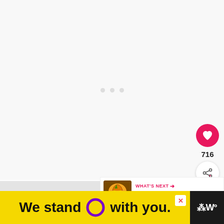[Figure (screenshot): White/light grey content area with three small grey loading dots centered, indicating a loading state]
[Figure (infographic): Social action panel: pink heart like button, count 716, and share button]
716
[Figure (screenshot): What's Next panel: thumbnail of pumpkin image, label 'WHAT'S NEXT →', title 'How to Carve a Pumpkin -...']
WHAT'S NEXT → How to Carve a Pumpkin -...
[Figure (infographic): Yellow advertisement banner reading 'We stand O with you.' with a purple circle/ring, close X button, and Wealthsimple logo on black background]